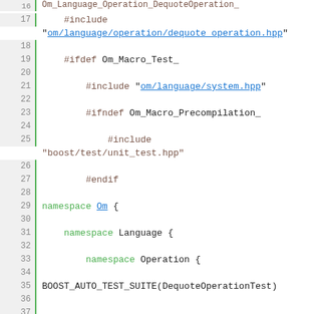[Figure (screenshot): Source code screenshot showing C++ code with line numbers 16-43, featuring preprocessor directives, namespace declarations, and Boost test macros. Color-coded syntax highlighting with green keywords, blue strings/links, and brown macros.]